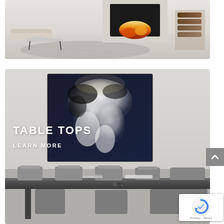[Figure (photo): Interior living room photo showing a modern white room with a fireplace, a low coffee table, and a rug. Partial view cropped at top.]
[Figure (photo): Dining room interior with a dark abstract painting on the wall and a long dark dining table with gray chairs. Text overlay reads TABLE TOPS and LEARN MORE.]
TABLE TOPS
LEARN MORE